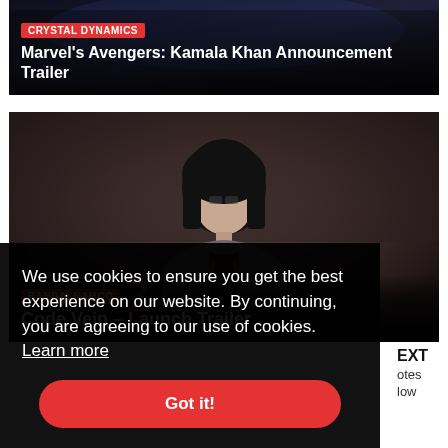[Figure (screenshot): Video thumbnail with dark background for Marvel's Avengers: Kamala Khan Announcement Trailer by Crystal Dynamics]
CRYSTAL DYNAMICS
Marvel's Avengers: Kamala Khan Announcement Trailer
[Figure (screenshot): Video thumbnail showing anime-style character for Code Vein – Launch Trailer by Bandai Namco]
BANDAI NAMCO
Code Vein – Launch Trailer
We use cookies to ensure you get the best experience on our website. By continuing, you are agreeing to our use of cookies. Learn more
Got it!